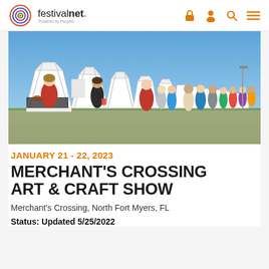festivalnet. Powered by Peoples
[Figure (photo): Outdoor arts and crafts show with rows of white vendor tents, people browsing, blue sky in background]
JANUARY 21 - 22, 2023
MERCHANT'S CROSSING ART & CRAFT SHOW
Merchant's Crossing, North Fort Myers, FL
Status: Updated 5/25/2022